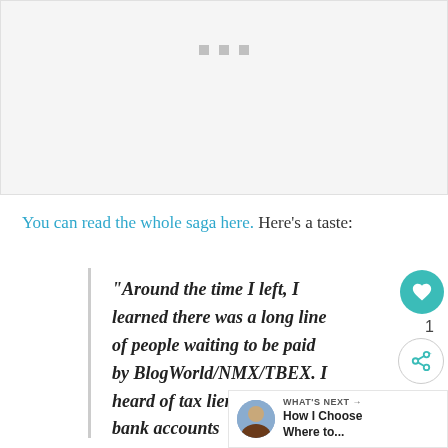[Figure (photo): Gray placeholder image with three small square dots near top center, representing an embedded media or video player]
You can read the whole saga here. Here’s a taste:
“Around the time I left, I learned there was a long line of people waiting to be paid by BlogWorld/NMX/TBEX. I heard of tax liens, garnished bank accounts